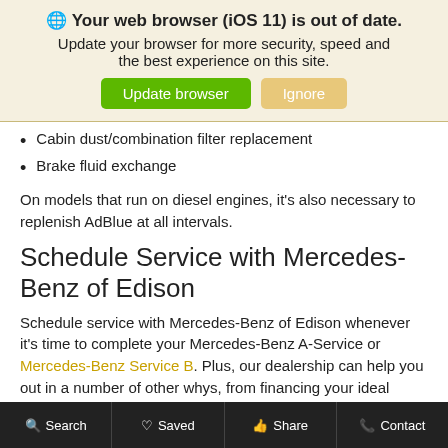🌐 Your web browser (iOS 11) is out of date. Update your browser for more security, speed and the best experience on this site.
Cabin dust/combination filter replacement
Brake fluid exchange
On models that run on diesel engines, it's also necessary to replenish AdBlue at all intervals.
Schedule Service with Mercedes-Benz of Edison
Schedule service with Mercedes-Benz of Edison whenever it's time to complete your Mercedes-Benz A-Service or Mercedes-Benz Service B. Plus, our dealership can help you out in a number of other whys, from financing your ideal Mercedes-Benz to navigating the Staten Island Ferry!
Search   Saved   Share   Contact